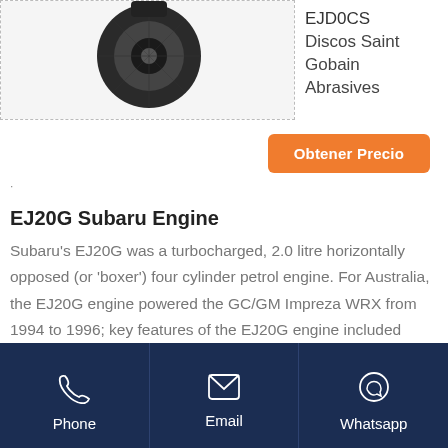[Figure (photo): Product photo showing a dark mechanical component (disc/abrasive) on white background, within a dashed border box]
EJD0CS
Discos Saint Gobain Abrasives
Obtener Precio
EJ20G Subaru Engine
Subaru's EJ20G was a turbocharged, 2.0 litre horizontally opposed (or 'boxer') four cylinder petrol engine. For Australia, the EJ20G engine powered the GC/GM Impreza WRX from 1994 to 1996; key features of the EJ20G engine included
Obtener Precio
Phone
Email
Whatsapp